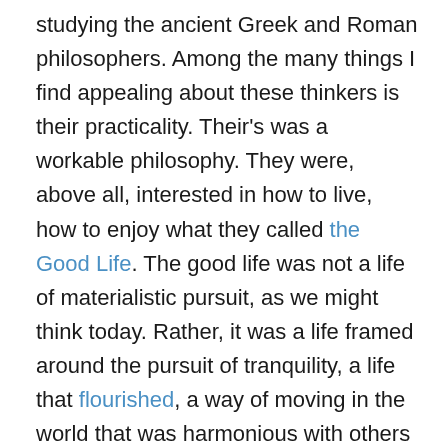studying the ancient Greek and Roman philosophers. Among the many things I find appealing about these thinkers is their practicality. Their's was a workable philosophy. They were, above all, interested in how to live, how to enjoy what they called the Good Life. The good life was not a life of materialistic pursuit, as we might think today. Rather, it was a life framed around the pursuit of tranquility, a life that flourished, a way of moving in the world that was harmonious with others and with, most importantly, nature. That is the good life and they were dogged in the pursuit of it. To that end they reasoned that a human being, if he or she is to enjoy the good life, must develop a handful of attributes, exercise them, and never let them go. What they were talking about was leading a life of virtue.  Not long later the Christians incorporated this notion into their new religion. The Christian Scholastics of